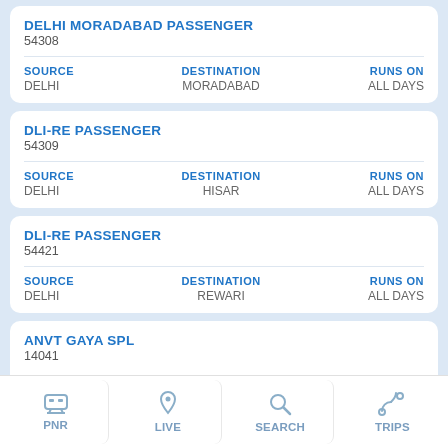DELHI MORADABAD PASSENGER
54308
| SOURCE | DESTINATION | RUNS ON |
| --- | --- | --- |
| DELHI | MORADABAD | ALL DAYS |
DLI-RE PASSENGER
54309
| SOURCE | DESTINATION | RUNS ON |
| --- | --- | --- |
| DELHI | HISAR | ALL DAYS |
DLI-RE PASSENGER
54421
| SOURCE | DESTINATION | RUNS ON |
| --- | --- | --- |
| DELHI | REWARI | ALL DAYS |
ANVT GAYA SPL
14041
PNR | LIVE | SEARCH | TRIPS